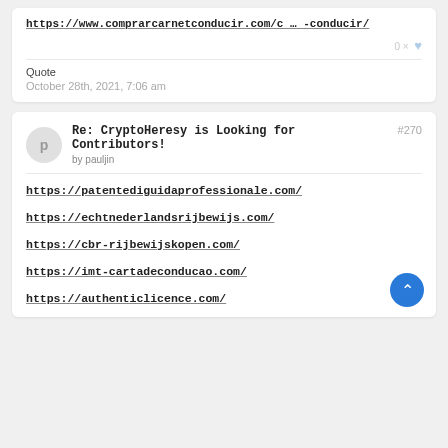https://www.comprarcarnetconducir.com/c … -conducir/
Quote
October 28th, 2021, 7:06 am
Re: CryptoHeresy is Looking for Contributors! #270
by pauljin
https://patentediguidaprofessionale.com/
https://echtnederlandsrijbewijs.com/
https://cbr-rijbewijskopen.com/
https://imt-cartadeconducao.com/
https://authenticlicence.com/